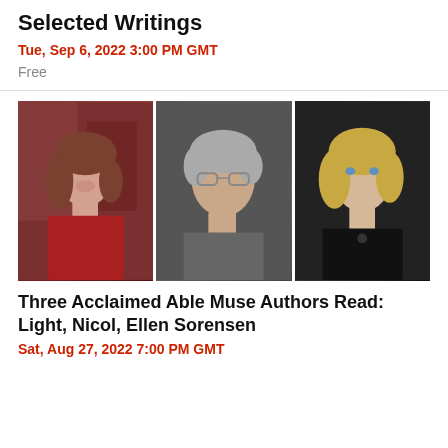Selected Writings
Tue, Sep 6, 2022 3:00 PM GMT
Free
[Figure (photo): Three author headshots side by side: a woman with brown hair in a red top on a city street; a middle-aged man with grey hair and glasses in a grey shirt; a woman with blonde hair in a black top.]
Three Acclaimed Able Muse Authors Read: Light, Nicol, Ellen Sorensen
Sat, Aug 27, 2022 7:00 PM GMT